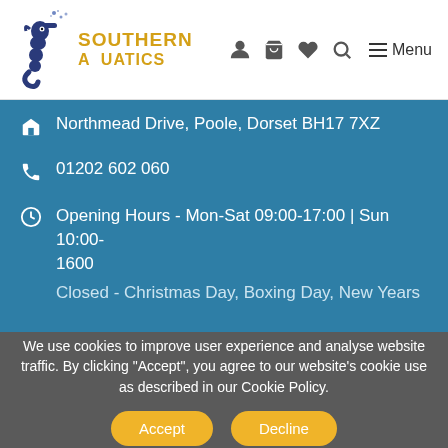[Figure (logo): Southern Aquatics logo with yellow text and blue seahorse illustration]
Northmead Drive, Poole, Dorset BH17 7XZ
01202 602 060
Opening Hours - Mon-Sat 09:00-17:00 | Sun 10:00-1600
Closed - Christmas Day, Boxing Day, New Years
We use cookies to improve user experience and analyse website traffic. By clicking "Accept", you agree to our website's cookie use as described in our Cookie Policy.